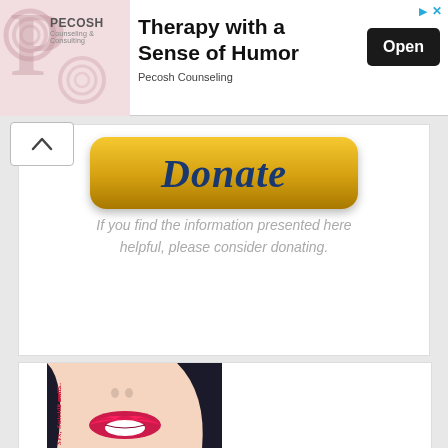[Figure (screenshot): Advertisement banner for Pecosh Counseling - Therapy with a Sense of Humor, with Open button]
[Figure (illustration): Donate button (gold/yellow rounded rectangle with dark blue italic Donate text)]
If you find the information presented here helpful, please consider donating.
[Figure (illustration): Book cover illustration showing a woman's face (lips close-up) with rotated text reading 'Sex, Suicide and...' on the spine]